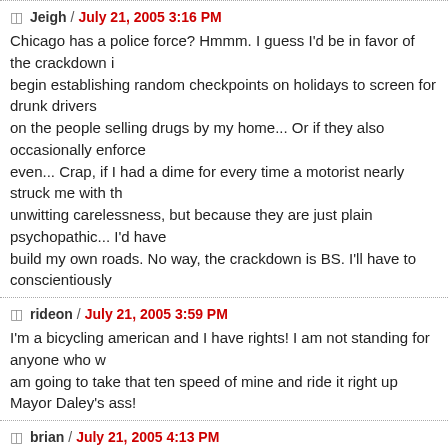Jeigh / July 21, 2005 3:16 PM — Chicago has a police force? Hmmm. I guess I'd be in favor of the crackdown if they also begin establishing random checkpoints on holidays to screen for drunk drivers, crack down on the people selling drugs by my home... Or if they also occasionally enforce traffic laws even... Crap, if I had a dime for every time a motorist nearly struck me with their car not out of unwitting carelessness, but because they are just plain psychopathic... I'd have enough to build my own roads. No way, the crackdown is BS. I'll have to conscientiously...
rideon / July 21, 2005 3:59 PM — I'm a bicycling american and I have rights! I am not standing for anyone who would... I am going to take that ten speed of mine and ride it right up Mayor Daley's ass!
brian / July 21, 2005 4:13 PM — About the 5 year-old being ticketed: the law (as I recall) says that children und... on the sidewalk. I believe that they can be legally accompanied by a guardian. If you have questions about the law, check out the Chicagoland Bicycle Federa... a lot of info in the "Resources" section, including how to deal with traffic and...
victim / July 21, 2005 4:38 PM